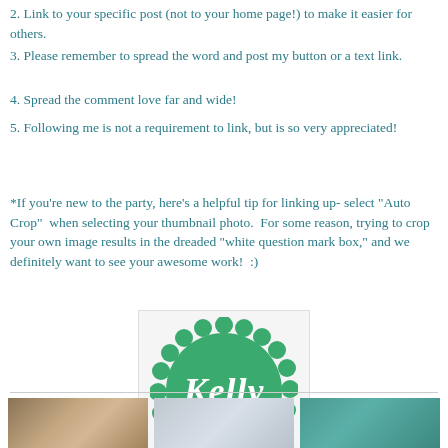2. Link to your specific post (not to your home page!) to make it easier for others.
3. Please remember to spread the word and post my button or a text link.
4. Spread the comment love far and wide!
5. Following me is not a requirement to link, but is so very appreciated!
*If you're new to the party, here's a helpful tip for linking up- select "Auto Crop" when selecting your thumbnail photo. For some reason, trying to crop your own image results in the dreaded "white question mark box," and we definitely want to see your awesome work! :)
[Figure (logo): Green scalloped badge logo with the name 'Kelly' written in white script font with a decorative needle/thread element]
[Figure (photo): Three thumbnail images at the bottom of the page: a warm brown-toned image, a gray/blue-toned image, and a teal-toned image]